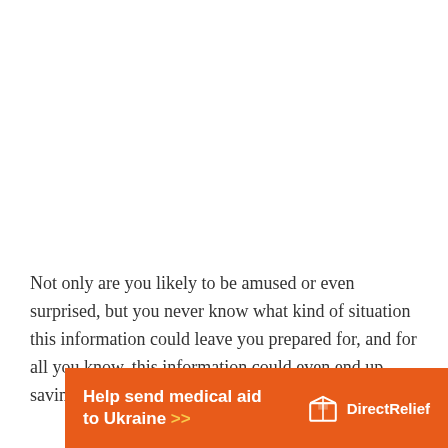Not only are you likely to be amused or even surprised, but you never know what kind of situation this information could leave you prepared for, and for all you know, this information could even end up saving your life.
[Figure (infographic): Orange advertisement banner for Direct Relief: 'Help send medical aid to Ukraine >>' with Direct Relief logo (box icon) on the right]